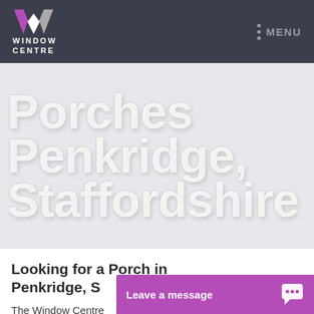WINDOW CENTRE | MENU
Porches Penkridge, Staffordshire
Looking for a Porch in Penkridge, S
The Window Centre
[Figure (other): Leave a message chat button with speech bubble icon]